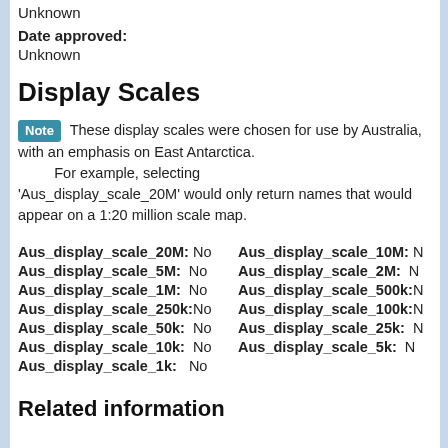Unknown
Date approved:
Unknown
Display Scales
Note These display scales were chosen for use by Australia, with an emphasis on East Antarctica. For example, selecting 'Aus_display_scale_20M' would only return names that would appear on a 1:20 million scale map.
Aus_display_scale_20M: No   Aus_display_scale_10M: N
Aus_display_scale_5M: No   Aus_display_scale_2M: N
Aus_display_scale_1M: No   Aus_display_scale_500k: N
Aus_display_scale_250k: No   Aus_display_scale_100k: N
Aus_display_scale_50k: No   Aus_display_scale_25k: N
Aus_display_scale_10k: No   Aus_display_scale_5k: N
Aus_display_scale_1k: No
Related information